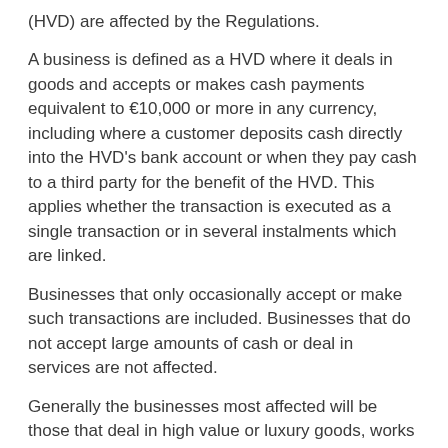(HVD) are affected by the Regulations.
A business is defined as a HVD where it deals in goods and accepts or makes cash payments equivalent to €10,000 or more in any currency, including where a customer deposits cash directly into the HVD's bank account or when they pay cash to a third party for the benefit of the HVD. This applies whether the transaction is executed as a single transaction or in several instalments which are linked.
Businesses that only occasionally accept or make such transactions are included. Businesses that do not accept large amounts of cash or deal in services are not affected.
Generally the businesses most affected will be those that deal in high value or luxury goods, works of art, cars, jewellery and yachts.
However, the regime applies to everyone who accepts sufficiently large amounts of cash for goods and any business could potentially be registrable.